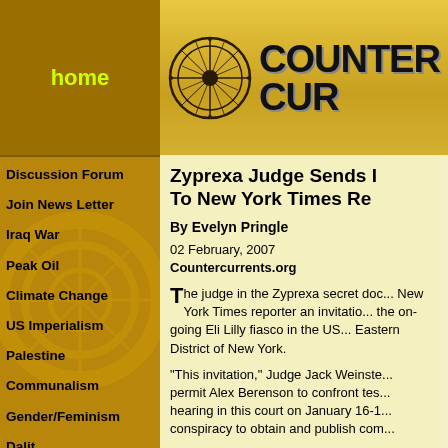home | COUNTER CUR...
Discussion Forum
Join News Letter
Iraq War
Peak Oil
Climate Change
US Imperialism
Palestine
Communalism
Gender/Feminism
Dalit
Globalisation
Zyprexa Judge Sends Invitation To New York Times Reporter
By Evelyn Pringle
02 February, 2007
Countercurrents.org
The judge in the Zyprexa secret doc... New York Times reporter an invitation... the on-going Eli Lilly fiasco in the US... Eastern District of New York.
"This invitation," Judge Jack Weinste... permit Alex Berenson to confront tes... hearing in this court on January 16-1... conspiracy to obtain and publish com...